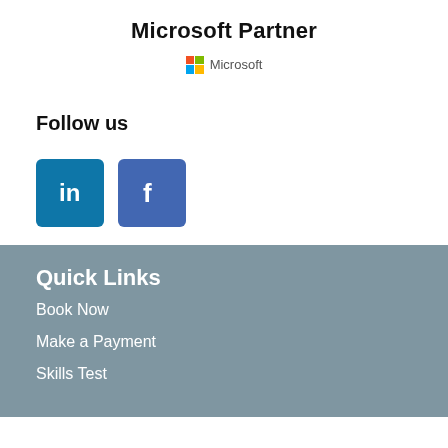Microsoft Partner
[Figure (logo): Microsoft logo with four colored squares and 'Microsoft' text]
Follow us
[Figure (logo): LinkedIn icon (blue square with 'in' text) and Facebook icon (blue square with 'f' text)]
Quick Links
Book Now
Make a Payment
Skills Test